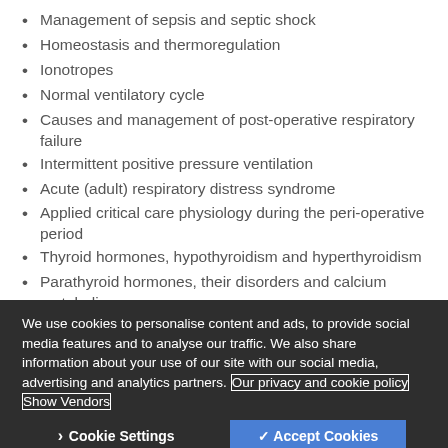Management of sepsis and septic shock
Homeostasis and thermoregulation
Ionotropes
Normal ventilatory cycle
Causes and management of post-operative respiratory failure
Intermittent positive pressure ventilation
Acute (adult) respiratory distress syndrome
Applied critical care physiology during the peri-operative period
Thyroid hormones, hypothyroidism and hyperthyroidism
Parathyroid hormones, their disorders and calcium metabolism
We use cookies to personalise content and ads, to provide social media features and to analyse our traffic. We also share information about your use of our site with our social media, advertising and analytics partners. Our privacy and cookie policy Show Vendors
Cookie Settings  ✓ Accept Cookies